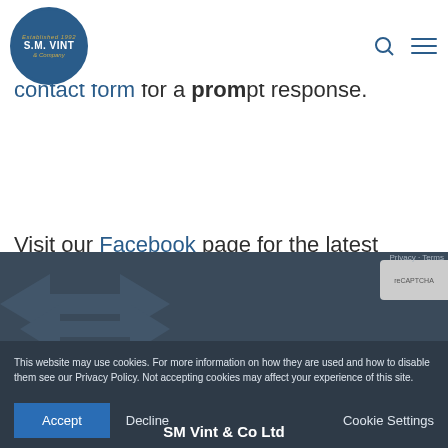S.M. VINT & Company
Alternatively, send us a message on enquiries@smvint.co.uk or through the contact form for a prompt response.
Visit our Facebook page for the latest updates from our team.
This website may use cookies. For more information on how they are used and how to disable them see our Privacy Policy. Not accepting cookies may affect your experience of this site.
Accept  Decline  Cookie Settings
SM Vint & Co Ltd